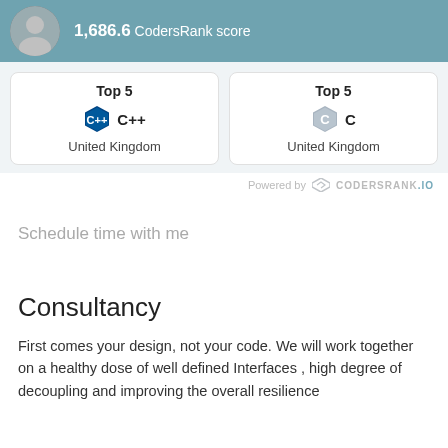[Figure (infographic): Header banner with avatar photo and '1,686.6 CodersRank score' text]
[Figure (infographic): Two cards side by side: 'Top 5 C++ United Kingdom' and 'Top 5 C United Kingdom']
Powered by CODERSRANK.IO
Schedule time with me
Consultancy
First comes your design, not your code. We will work together on a healthy dose of well defined Interfaces , high degree of decoupling and improving the overall resilience